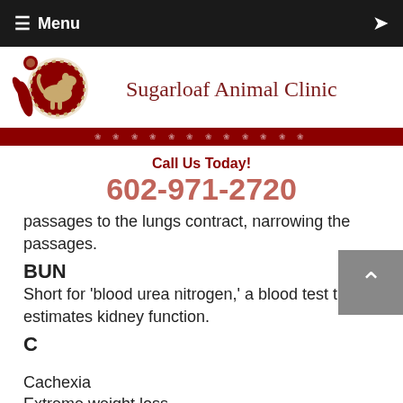≡ Menu
[Figure (logo): Sugarloaf Animal Clinic logo with dog silhouette and red circular design, red decorative bar with paw print patterns]
Call Us Today!
602-971-2720
passages to the lungs contract, narrowing the passages.
BUN
Short for 'blood urea nitrogen,' a blood test that estimates kidney function.
C
Cachexia
Extreme weight loss.